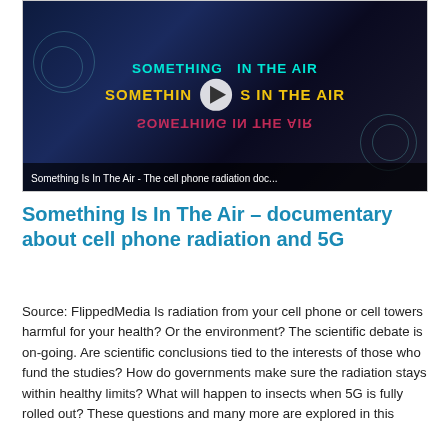[Figure (screenshot): Video thumbnail for documentary 'Something Is In The Air - The cell phone radiation doc...' with dark background, stylized text in teal, yellow, and pink reading 'SOMETHING IN THE AIR' (with the third line mirrored/flipped), a white circular play button in the center, and a caption bar at the bottom.]
Something Is In The Air – documentary about cell phone radiation and 5G
Source: FlippedMedia Is radiation from your cell phone or cell towers harmful for your health? Or the environment? The scientific debate is on-going. Are scientific conclusions tied to the interests of those who fund the studies? How do governments make sure the radiation stays within healthy limits? What will happen to insects when 5G is fully rolled out? These questions and many more are explored in this